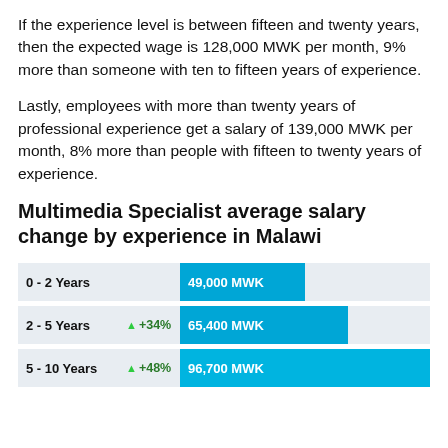If the experience level is between fifteen and twenty years, then the expected wage is 128,000 MWK per month, 9% more than someone with ten to fifteen years of experience.
Lastly, employees with more than twenty years of professional experience get a salary of 139,000 MWK per month, 8% more than people with fifteen to twenty years of experience.
Multimedia Specialist average salary change by experience in Malawi
[Figure (bar-chart): Multimedia Specialist average salary change by experience in Malawi]